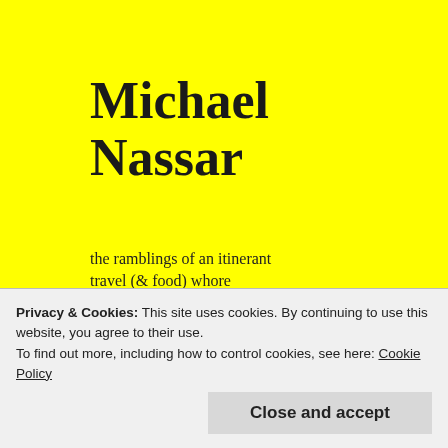Michael Nassar
the ramblings of an itinerant travel (& food) whore
Select Copywriting
recently published:
Spa Magazine
AsiaSpa
NY Daily News
Hemispheres
My last c... Substation... down to a... with the is... let alone s... it with but... Bond in Fo... claustropho... indeed.
Privacy & Cookies: This site uses cookies. By continuing to use this website, you agree to their use.
To find out more, including how to control cookies, see here: Cookie Policy
Close and accept